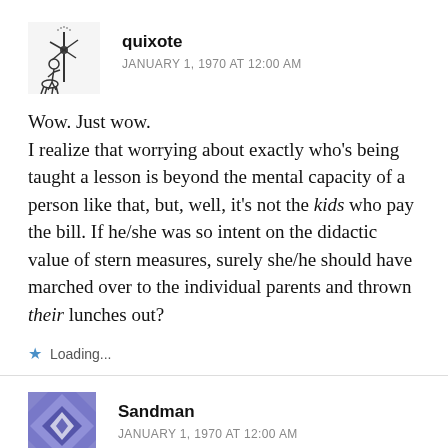[Figure (illustration): Avatar image of Don Quixote style illustration in black and white]
quixote
JANUARY 1, 1970 AT 12:00 AM
Wow. Just wow.
I realize that worrying about exactly who's being taught a lesson is beyond the mental capacity of a person like that, but, well, it's not the kids who pay the bill. If he/she was so intent on the didactic value of stern measures, surely she/he should have marched over to the individual parents and thrown their lunches out?
Loading...
[Figure (illustration): Avatar image with blue diamond/quilt pattern for Sandman]
Sandman
JANUARY 1, 1970 AT 12:00 AM